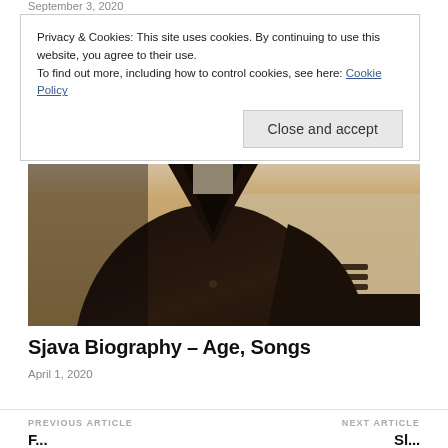September 3, 2020
Privacy & Cookies: This site uses cookies. By continuing to use this website, you agree to their use.
To find out more, including how to control cookies, see here: Cookie Policy
Close and accept
[Figure (photo): Sepia-toned photograph showing a person in a dark military or formal uniform, partially cropped showing torso and arms]
Sjava Biography – Age, Songs
April 1, 2020
PREVIOUS ARTICLE
NEXT ARTICLE